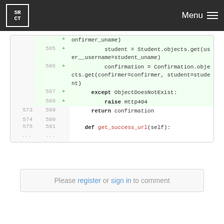SRCT | Menu
[Figure (screenshot): Code diff view showing Python code additions for lines 585-591, including student and confirmation object retrieval with try/except ObjectDoesNotExist block and get_success_url method definition]
Please register or sign in to comment